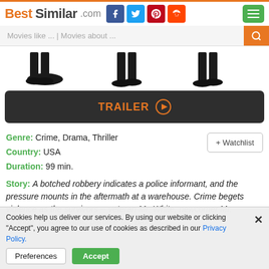BestSimilar.com
Movies like ... | Movies about ...
[Figure (photo): Partial view of figures in black suits, cropped at foot/leg level]
TRAILER ▶
Genre: Crime, Drama, Thriller
Country: USA
Duration: 99 min.
Story: A botched robbery indicates a police informant, and the pressure mounts in the aftermath at a warehouse. Crime begets violence as the survivors -- veteran Mr. White, newcomer Mr. Orange, psychopathic parolee Mr. Blonde
Cookies help us deliver our services. By using our website or clicking "Accept", you agree to our use of cookies as described in our Privacy Policy.